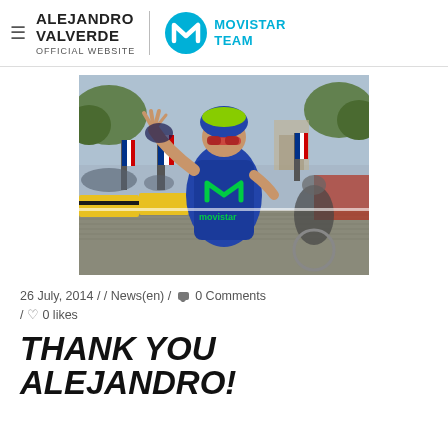ALEJANDRO VALVERDE OFFICIAL WEBSITE | MOVISTAR TEAM
[Figure (photo): Cyclist Alejandro Valverde in Movistar team kit waving on the Champs-Élysées during the Tour de France 2014, with crowds and French flags in the background]
26 July, 2014 / / News(en) / 0 Comments / 0 likes
THANK YOU ALEJANDRO!